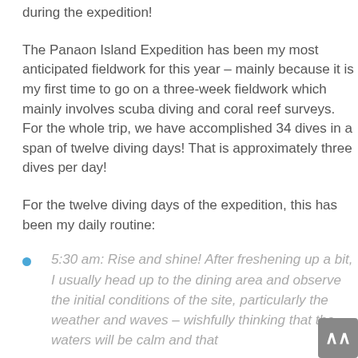during the expedition!
The Panaon Island Expedition has been my most anticipated fieldwork for this year – mainly because it is my first time to go on a three-week fieldwork which mainly involves scuba diving and coral reef surveys. For the whole trip, we have accomplished 34 dives in a span of twelve diving days! That is approximately three dives per day!
For the twelve diving days of the expedition, this has been my daily routine:
5:30 am: Rise and shine! After freshening up a bit, I usually head up to the dining area and observe the initial conditions of the site, particularly the weather and waves – wishfully thinking that the waters will be calm and that the currents will cooperate for the dives.